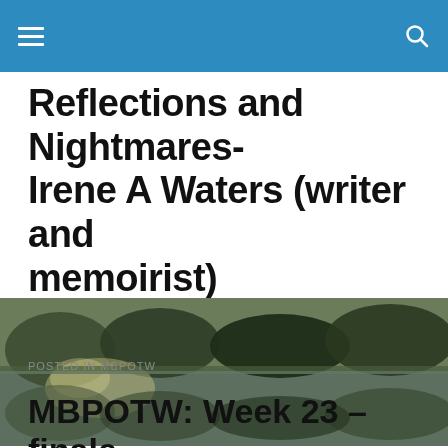Reflections and Nightmares-Irene A Waters (writer and memoirist)
Reflections and Nightmares-Irene A Waters (writer and memoirist)
Memoirs, writing, publishing and more
[Figure (photo): Outdoor nature photo showing a still water body reflecting trees and green shrubs/reeds along its banks, taken in natural daylight.]
POSTED IN MBPOTW
MBPOTW: Week 23 – finale